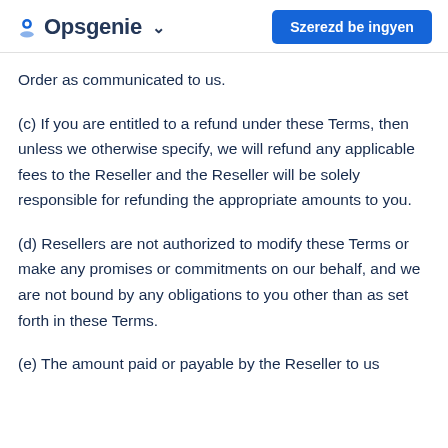Opsgenie — Szerezd be ingyen
Order as communicated to us.
(c) If you are entitled to a refund under these Terms, then unless we otherwise specify, we will refund any applicable fees to the Reseller and the Reseller will be solely responsible for refunding the appropriate amounts to you.
(d) Resellers are not authorized to modify these Terms or make any promises or commitments on our behalf, and we are not bound by any obligations to you other than as set forth in these Terms.
(e) The amount paid or payable by the Reseller to us